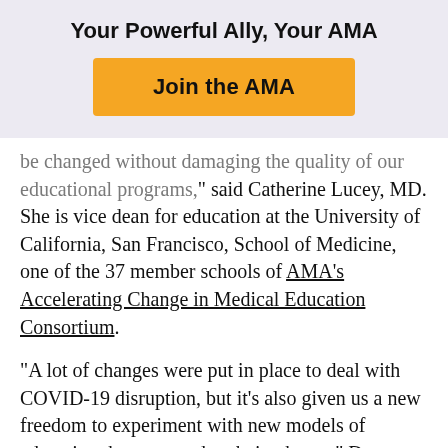Your Powerful Ally, Your AMA
[Figure (other): Orange 'Join the AMA' button on lavender background]
be changed without damaging the quality of our educational programs,” said Catherine Lucey, MD. She is vice dean for education at the University of California, San Francisco, School of Medicine, one of the 37 member schools of AMA’s Accelerating Change in Medical Education Consortium.
“A lot of changes were put in place to deal with COVID-19 disruption, but it’s also given us a new freedom to experiment with new models of education that may end up being better,” Dr. Lucey said in an interview with the AMA.
Dr. Lucey and co-author C. Claiborne Johnston